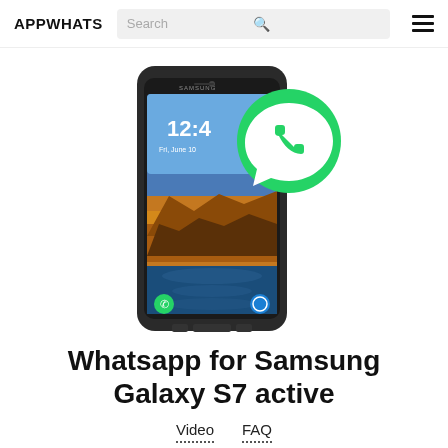APPWHATS
[Figure (illustration): Samsung Galaxy S7 Active smartphone with WhatsApp logo overlaid on the top right corner of the phone. The phone shows a lock screen with time 12:4x and a canyon/rock landscape wallpaper.]
Whatsapp for Samsung Galaxy S7 active
Video   FAQ